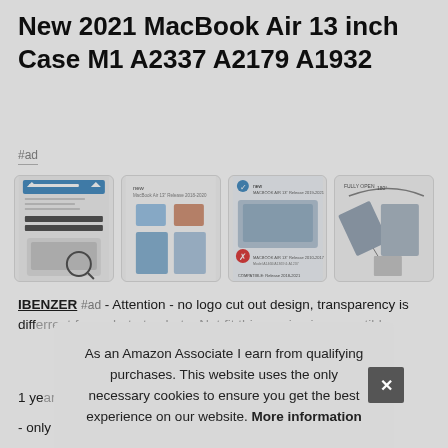New 2021 MacBook Air 13 inch Case M1 A2337 A2179 A1932
#ad
[Figure (photo): Four product thumbnail images of MacBook Air cases showing compatibility info, color variants, laptop with case, and open-angle view]
IBENZER #ad - Attention - no logo cut out design, transparency is different from photo to photo. Not fit this version is compatible
1 year warranty - ASIN number - only for new macbook air 13 inch case 2021 2020 2019 2018
As an Amazon Associate I earn from qualifying purchases. This website uses the only necessary cookies to ensure you get the best experience on our website. More information